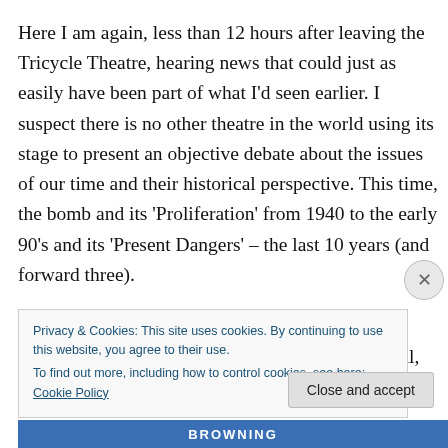Here I am again, less than 12 hours after leaving the Tricycle Theatre, hearing news that could just as easily have been part of what I'd seen earlier. I suspect there is no other theatre in the world using its stage to present an objective debate about the issues of our time and their historical perspective. This time, the bomb and its 'Proliferation' from 1940 to the early 90's and its 'Present Dangers' – the last 10 years (and forward three).
These ten short plays, and thirteen verbatim interview extracts, take us from wartime Whitehall, where German
Privacy & Cookies: This site uses cookies. By continuing to use this website, you agree to their use.
To find out more, including how to control cookies, see here: Cookie Policy